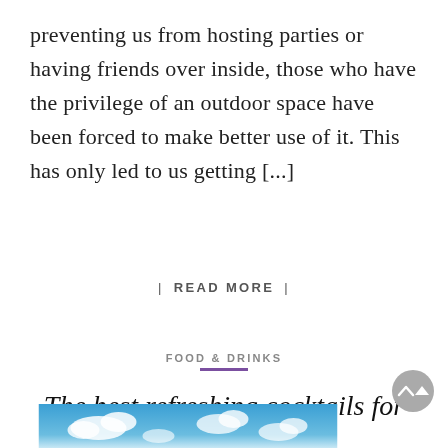preventing us from hosting parties or having friends over inside, those who have the privilege of an outdoor space have been forced to make better use of it. This has only led to us getting [...]
| READ MORE |
FOOD & DRINKS
The best refreshing cocktails for summer
Posted on July 27, 2021  by fantastic
[Figure (photo): Blue sky with white clouds, partial view at bottom of page]